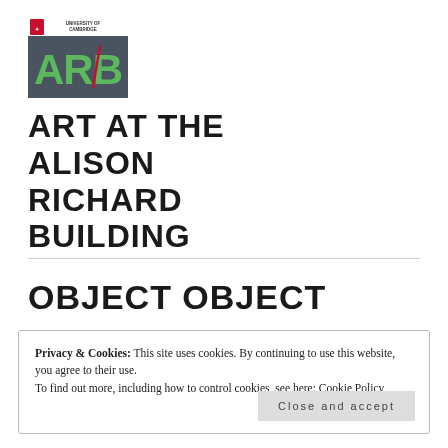[Figure (logo): University of Cambridge ARB logo — dark blue/grey background with green 'ARB' letters and University of Cambridge text at top]
ART AT THE ALISON RICHARD BUILDING
OBJECT OBJECT
Privacy & Cookies: This site uses cookies. By continuing to use this website, you agree to their use.
To find out more, including how to control cookies, see here: Cookie Policy
Close and accept